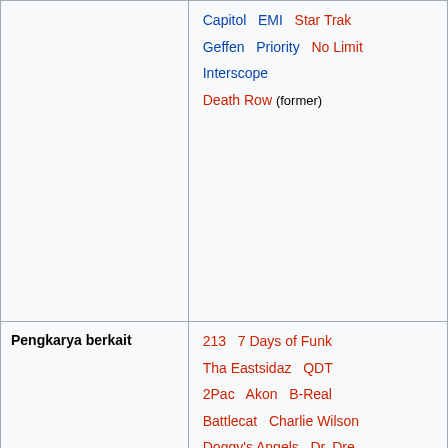|  | Capitol  EMI  Star Trak
Geffen  Priority  No Limit
Interscope
Death Row (former) |
| Pengkarya berkait | 213  7 Days of Funk
Tha Eastsidaz  QDT
2Pac  Akon  B-Real
Battlecat  Charlie Wilson
Doggy's Angels  Dr. Dre
Major Lazer  Master P
Nate Dogg  Pharrell
Too Short
Tha Dogg Pound |